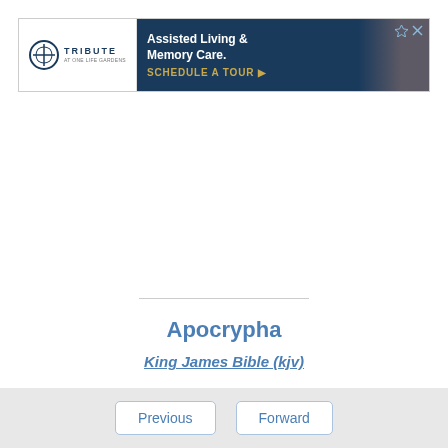[Figure (other): Advertisement banner for Tribute Assisted Living & Memory Care with a Schedule a Tour call to action]
Apocrypha
King James Bible (kjv)
Previous  Forward